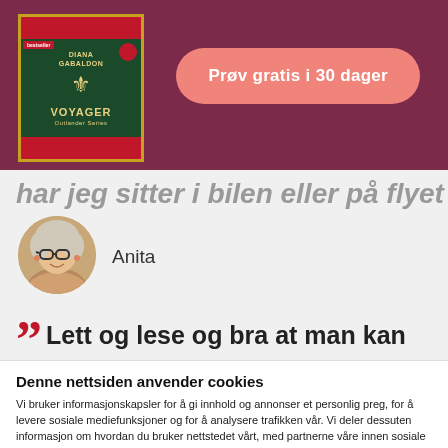[Figure (screenshot): Purple/maroon header bar with book cover image on the left and a pink 'Prøv gratis i 30 dager' CTA button on the right]
har jeg sitter i bilen eller på flyet eller toget.
[Figure (photo): Circular profile photo of a woman with glasses and short light hair, smiling]
Anita
” Lett og lese og bra at man kan stille inn
Denne nettsiden anvender cookies
Vi bruker informasjonskapsler for å gi innhold og annonser et personlig preg, for å levere sosiale mediefunksjoner og for å analysere trafikken vår. Vi deler dessuten informasjon om hvordan du bruker nettstedet vårt, med partnerne våre innen sosiale medier, annonsering og analysearbeid, som kan kombinere den med annen informasjon du har gjort tilgjengelig for dem, eller som de har samlet inn gjennom din bruk av tjenestene deres.
OK
Detaljer